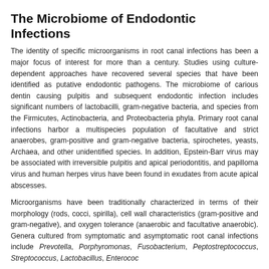The Microbiome of Endodontic Infections
The identity of specific microorganisms in root canal infections has been a major focus of interest for more than a century. Studies using culture-dependent approaches have recovered several species that have been identified as putative endodontic pathogens. The microbiome of carious dentin causing pulpitis and subsequent endodontic infection includes significant numbers of lactobacilli, gram-negative bacteria, and species from the Firmicutes, Actinobacteria, and Proteobacteria phyla. Primary root canal infections harbor a multispecies population of facultative and strict anaerobes, gram-positive and gram-negative bacteria, spirochetes, yeasts, Archaea, and other unidentified species. In addition, Epstein-Barr virus may be associated with irreversible pulpitis and apical periodontitis, and papilloma virus and human herpes virus have been found in exudates from acute apical abscesses.
Microorganisms have been traditionally characterized in terms of their morphology (rods, cocci, spirilla), cell wall characteristics (gram-positive and gram-negative), and oxygen tolerance (anaerobic and facultative anaerobic). Genera cultured from symptomatic and asymptomatic root canal infections include Prevotella, Porphyromonas, Fusobacterium, Peptostreptococcus, Streptococcus, Lactobacillus, Enterococ...